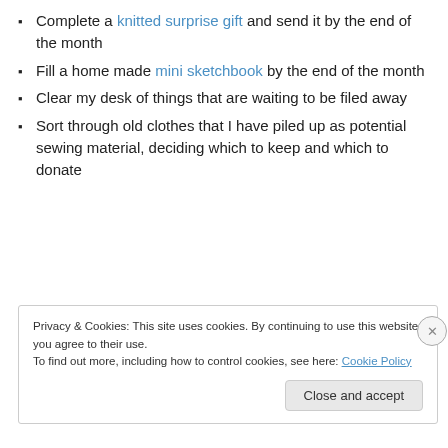Complete a knitted surprise gift and send it by the end of the month
Fill a home made mini sketchbook by the end of the month
Clear my desk of things that are waiting to be filed away
Sort through old clothes that I have piled up as potential sewing material, deciding which to keep and which to donate
Privacy & Cookies: This site uses cookies. By continuing to use this website, you agree to their use. To find out more, including how to control cookies, see here: Cookie Policy